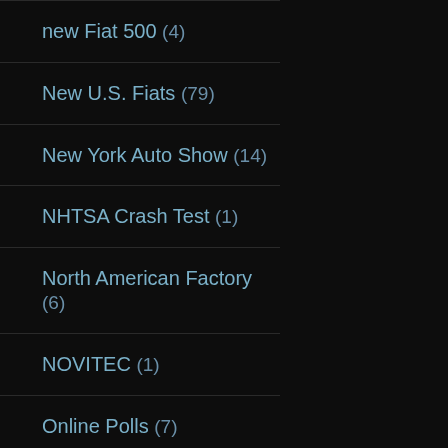new Fiat 500 (4)
New U.S. Fiats (79)
New York Auto Show (14)
NHTSA Crash Test (1)
North American Factory (6)
NOVITEC (1)
Online Polls (7)
Opel (6)
Panda 4x4 (2)
Paris Motor Show (7)
Past Fiats (1)
peterjerome (3)
Peugeot (3)
Pininfarina (2)